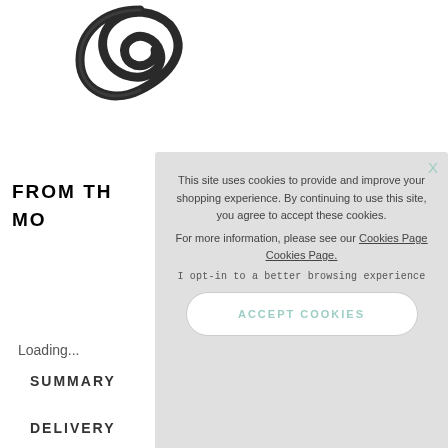[Figure (photo): Product image — a dark metal wire/spring component shaped in loops, photographed on white background]
FROM TH...
MO...
Loading...
SUMMARY
DELIVERY
This site uses cookies to provide and improve your shopping experience. By continuing to use this site, you agree to accept these cookies.
For more information, please see our Cookies Page Cookies Page.
I opt-in to a better browsing experience
ACCEPT COOKIES